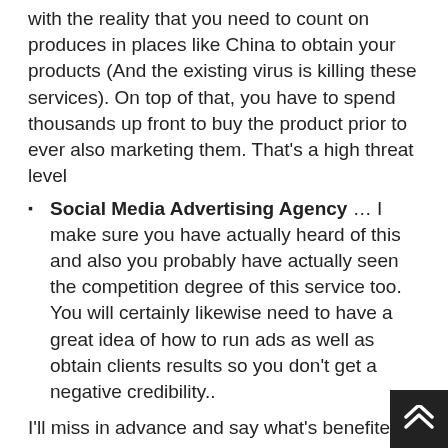with the reality that you need to count on produces in places like China to obtain your products (And the existing virus is killing these services). On top of that, you have to spend thousands up front to buy the product prior to ever also marketing them. That's a high threat level
Social Media Advertising Agency … I make sure you have actually heard of this and also you probably have actually seen the competition degree of this service too. You will certainly likewise need to have a great idea of how to run ads as well as obtain clients results so you don't get a negative credibility..
I'll miss in advance and say what's benefited me and also numerous others effectively & that's high ticket affiliate marketing..